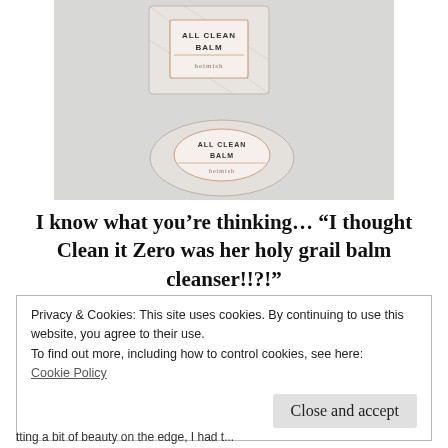[Figure (photo): Two Heimish All Clean Balm products: a rectangular box and a round jar, both with botanical leaf print packaging, on a light gray fabric background.]
I know what you’re thinking… “I thought Clean it Zero was her holy grail balm cleanser!!?!”
Privacy & Cookies: This site uses cookies. By continuing to use this website, you agree to their use.
To find out more, including how to control cookies, see here: Cookie Policy
Close and accept
tting a bit of beauty on the edge, I had t...